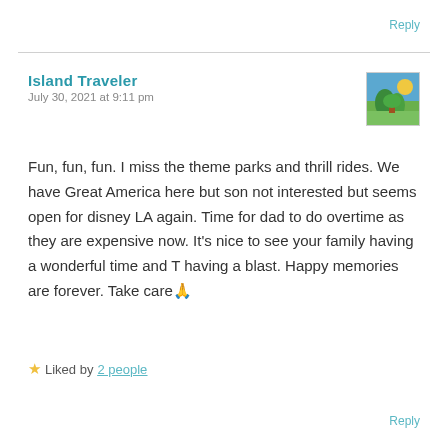Reply
Island Traveler
July 30, 2021 at 9:11 pm
[Figure (photo): Small square avatar photo showing a colorful outdoor/travel scene with blue sky and foliage]
Fun, fun, fun. I miss the theme parks and thrill rides. We have Great America here but son not interested but seems open for disney LA again. Time for dad to do overtime as they are expensive now. It's nice to see your family having a wonderful time and T having a blast. Happy memories are forever. Take care🙏
★ Liked by 2 people
Reply